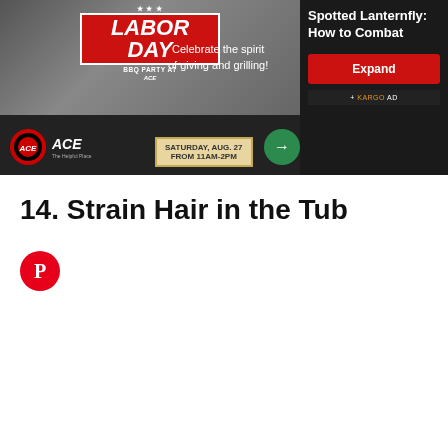[Figure (screenshot): Advertisement banner for ACE Hardware Labor Day BBQ Party event on Saturday Aug. 27 from 11AM-2PM with text 'Celebrate the spirit of giving and grilling!' and an Expand button. Right side shows 'Spotted Lanternfly: How to Combat' article teaser with Kargo Ad badge.]
14. Strain Hair in the Tub
[Figure (logo): Pinterest circular logo icon in red and white]